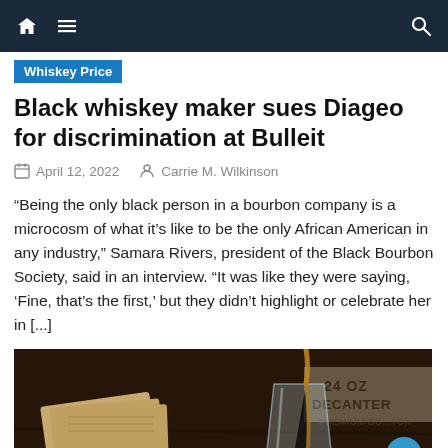Navigation bar with home, menu, and search icons
Whiskey Price
Black whiskey maker sues Diageo for discrimination at Bulleit
April 12, 2022   Carrie M. Wilkinson
“Being the only black person in a bourbon company is a microcosm of what it’s like to be the only African American in any industry,” Samara Rivers, president of the Black Bourbon Society, said in an interview. “It was like they were saying, ‘Fine, that’s the first,’ but they didn’t highlight or celebrate her in [...]
[Figure (photo): A glass of whiskey being poured, with a '24 OZ DECANTER' label visible in the background on a dark wooden surface]